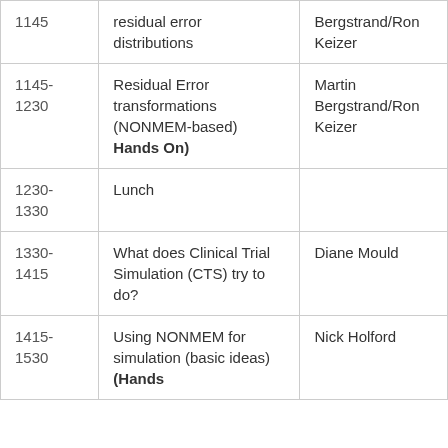| 1145 | residual error distributions | Bergstrand/Ron Keizer |
| 1145-1230 | Residual Error transformations (NONMEM-based) (Hands On) | Martin Bergstrand/Ron Keizer |
| 1230-1330 | Lunch |  |
| 1330-1415 | What does Clinical Trial Simulation (CTS) try to do? | Diane Mould |
| 1415-1530 | Using NONMEM for simulation (basic ideas) (Hands On) | Nick Holford |